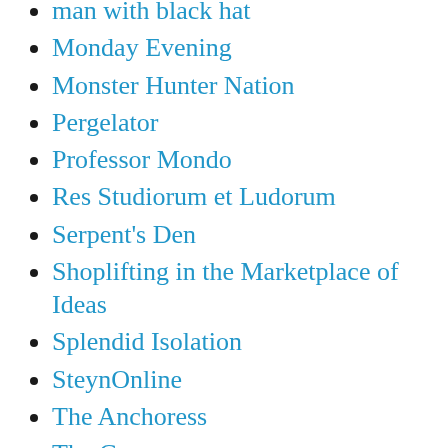man with black hat
Monday Evening
Monster Hunter Nation
Pergelator
Professor Mondo
Res Studiorum et Ludorum
Serpent's Den
Shoplifting in the Marketplace of Ideas
Splendid Isolation
SteynOnline
The Anchoress
The Gormogons
The Honest Broker
The Mechanical Dragon
The Orthosphere
The Port Stands at Your Elbow
The Silicon Greybeard